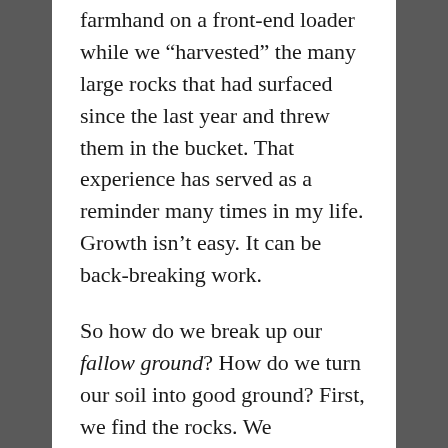farmhand on a front-end loader while we “harvested” the many large rocks that had surfaced since the last year and threw them in the bucket. That experience has served as a reminder many times in my life. Growth isn’t easy. It can be back-breaking work.
So how do we break up our fallow ground? How do we turn our soil into good ground? First, we find the rocks. We objectively identify the people, places, and things in our lives which distract us or keep us from wholehearted surrender to Jesus. It may even be useful to give a more mature christian permission to speak into our lives and point out those things.
Once identified, those things must be dealt with. Again, a fellow believer would definitely